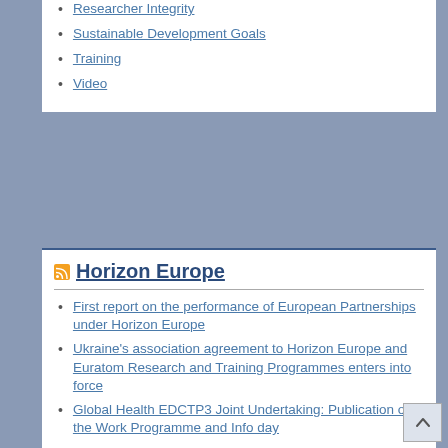Researcher Integrity
Sustainable Development Goals
Training
Video
Horizon Europe
First report on the performance of European Partnerships under Horizon Europe
Ukraine's association agreement to Horizon Europe and Euratom Research and Training Programmes enters into force
Global Health EDCTP3 Joint Undertaking: Publication of the Work Programme and Info day
Faroe Islands joins Horizon Europe Research and Innovation Programme
The EU and Japan open Horizon Europe association talks